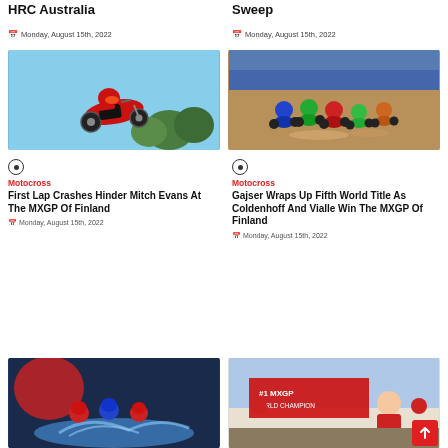HRC Australia
Monday, August 15th, 2022
Sweep
Monday, August 15th, 2022
[Figure (photo): Motocross rider on red Honda bike airborne against blue sky]
[Figure (photo): Group of motocross riders racing around a muddy corner]
Motocross
First Lap Crashes Hinder Mitch Evans At The MXGP Of Finland
Monday, August 15th, 2022
Motocross
Gajser Wraps Up Fifth World Title As Coldenhoff And Vialle Win The MXGP Of Finland
Monday, August 15th, 2022
[Figure (photo): Motocross riders with Red Bull branding splashing through water]
[Figure (photo): Motocross champion celebrating with number 1 MXGP World Champion banner]